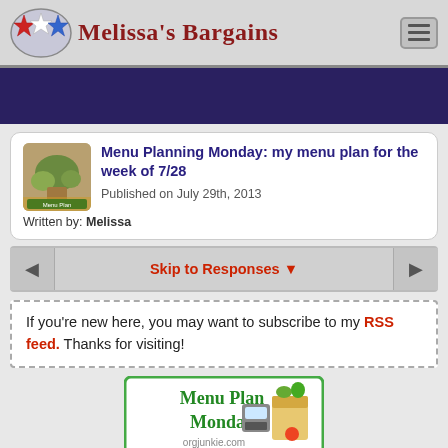Melissa's Bargains
Menu Planning Monday: my menu plan for the week of 7/28
Published on July 29th, 2013
Written by: Melissa
Skip to Responses
If you're new here, you may want to subscribe to my RSS feed. Thanks for visiting!
[Figure (illustration): Menu Plan Monday banner with orgjunkie.com, showing green text and a grocery bag with food illustration]
I go back to work in a week and a half, so I'm really trying to get